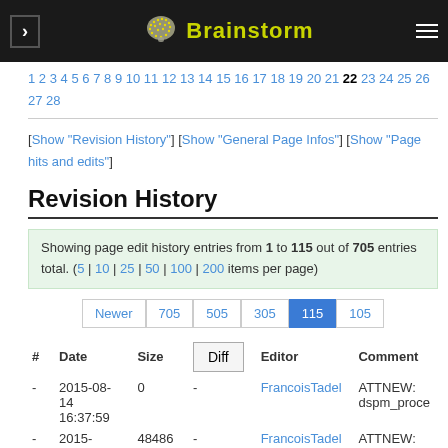Brainstorm
1 2 3 4 5 6 7 8 9 10 11 12 13 14 15 16 17 18 19 20 21 22 23 24 25 26 27 28
[Show "Revision History"] [Show "General Page Infos"] [Show "Page hits and edits"]
Revision History
Showing page edit history entries from 1 to 115 out of 705 entries total. (5 | 10 | 25 | 50 | 100 | 200 items per page)
Newer 705 505 305 115 105
| # | Date | Size | Diff | Editor | Comment |
| --- | --- | --- | --- | --- | --- |
| - | 2015-08-14 16:37:59 | 0 | - | FrancoisTadel | ATTNEW: dspm_proce |
| - | 2015- | 48486 | - | FrancoisTadel | ATTNEW: |